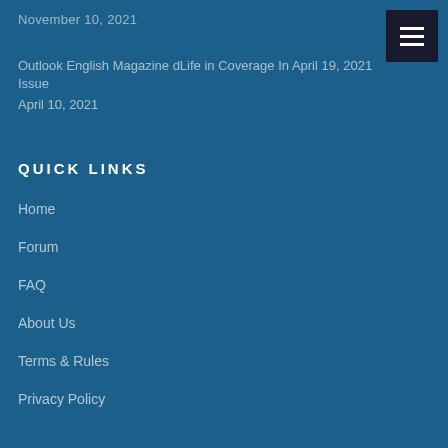November 10, 2021
Outlook English Magazine dLife in Coverage In April 19, 2021 Issue
April 10, 2021
QUICK LINKS
Home
Forum
FAQ
About Us
Terms & Rules
Privacy Policy